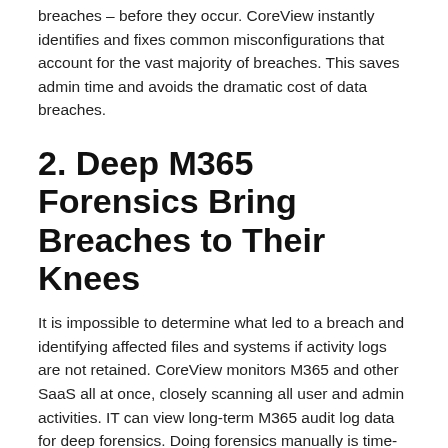breaches – before they occur. CoreView instantly identifies and fixes common misconfigurations that account for the vast majority of breaches. This saves admin time and avoids the dramatic cost of data breaches.
2. Deep M365 Forensics Bring Breaches to Their Knees
It is impossible to determine what led to a breach and identifying affected files and systems if activity logs are not retained. CoreView monitors M365 and other SaaS all at once, closely scanning all user and admin activities. IT can view long-term M365 audit log data for deep forensics. Doing forensics manually is time-consuming – if even possible